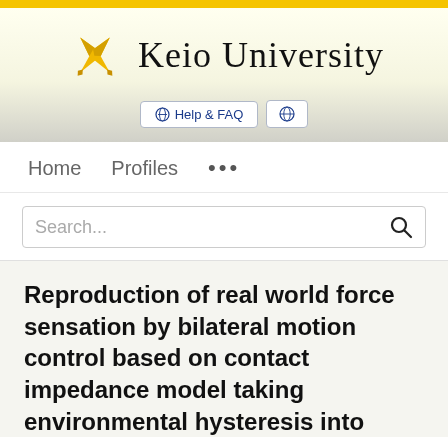[Figure (logo): Keio University logo: golden crossed pen nibs with text 'Keio University' in serif font]
Help & FAQ
Home   Profiles   ...
Search...
Reproduction of real world force sensation by bilateral motion control based on contact impedance model taking environmental hysteresis into